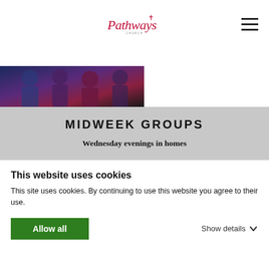Pathways Church logo and navigation
[Figure (photo): Partial photo of people in church, cropped at top]
MIDWEEK GROUPS
Wednesday evenings in homes
We meet in smaller groups in homes during the week, and these form the basic building blocks of our church. These are about us living life together in an environment where we
This website uses cookies
This site uses cookies. By continuing to use this website you agree to their use.
Allow all   Show details